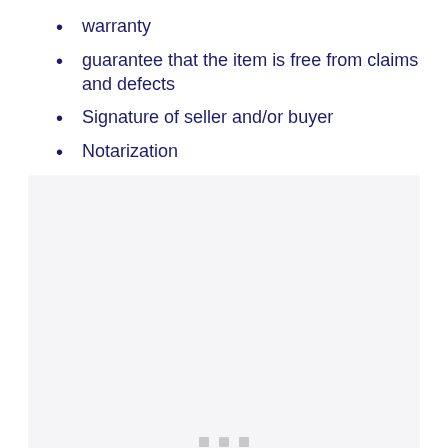warranty
guarantee that the item is free from claims and defects
Signature of seller and/or buyer
Notarization
[Figure (other): A light gray placeholder/content box with three small gray square dots at the bottom center, indicating a loading or empty state image area.]